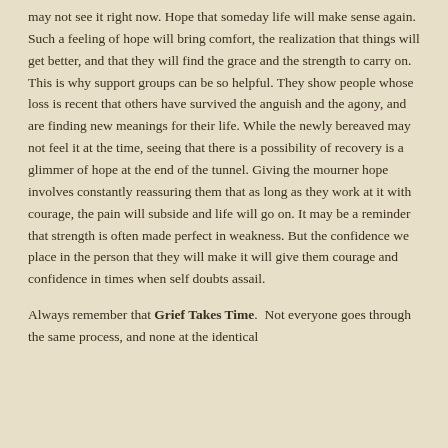may not see it right now. Hope that someday life will make sense again. Such a feeling of hope will bring comfort, the realization that things will get better, and that they will find the grace and the strength to carry on. This is why support groups can be so helpful. They show people whose loss is recent that others have survived the anguish and the agony, and are finding new meanings for their life. While the newly bereaved may not feel it at the time, seeing that there is a possibility of recovery is a glimmer of hope at the end of the tunnel. Giving the mourner hope involves constantly reassuring them that as long as they work at it with courage, the pain will subside and life will go on. It may be a reminder that strength is often made perfect in weakness. But the confidence we place in the person that they will make it will give them courage and confidence in times when self doubts assail.
Always remember that Grief Takes Time.  Not everyone goes through the same process, and none at the identical